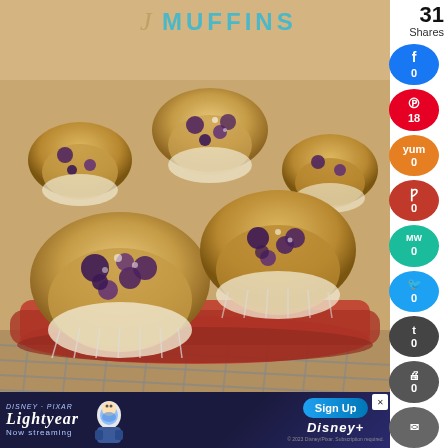[Figure (photo): Close-up photo of blueberry muffins in a red muffin tin on a wire cooling rack. The muffins are golden-brown with visible blueberries. Text overlay at top reads 'Muffins' in decorative script and teal caps.]
Muffins
[Figure (infographic): Social share sidebar with total 31 Shares. Buttons: Facebook 0, Pinterest 18, Yummly 0, Poppins 0, MealWhat 0, Twitter 0, Tumblr 0, Print 0, Email 0. Each is a colored circle with icon and count.]
[Figure (screenshot): Disney Pixar Lightyear advertisement banner. Shows 'Now streaming' with Buzz Lightyear character, Sign Up button, Disney+ logo, and copyright notice '© 2023 Disney/Pixar. Subscription required.']